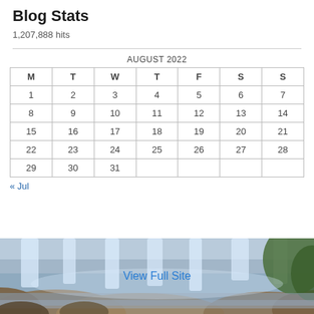Blog Stats
1,207,888 hits
| M | T | W | T | F | S | S |
| --- | --- | --- | --- | --- | --- | --- |
| 1 | 2 | 3 | 4 | 5 | 6 | 7 |
| 8 | 9 | 10 | 11 | 12 | 13 | 14 |
| 15 | 16 | 17 | 18 | 19 | 20 | 21 |
| 22 | 23 | 24 | 25 | 26 | 27 | 28 |
| 29 | 30 | 31 |  |  |  |  |
« Jul
[Figure (photo): Waterfall landscape photo with 'View Full Site' link overlaid in blue text]